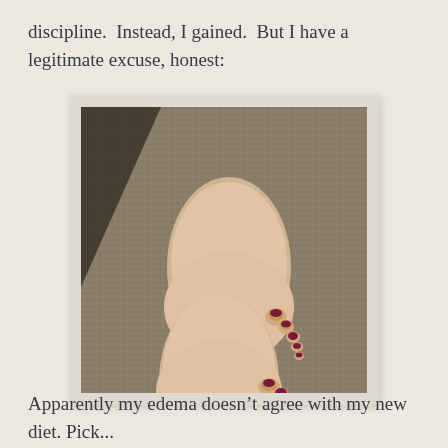discipline.  Instead, I gained.  But I have a legitimate excuse, honest:
[Figure (photo): Photo of two swollen feet with dark purple/maroon nail polish, viewed from above, on a textured carpet background. The feet appear puffy, consistent with edema.]
Apparently my edema doesn't agree with my new diet. Pick...